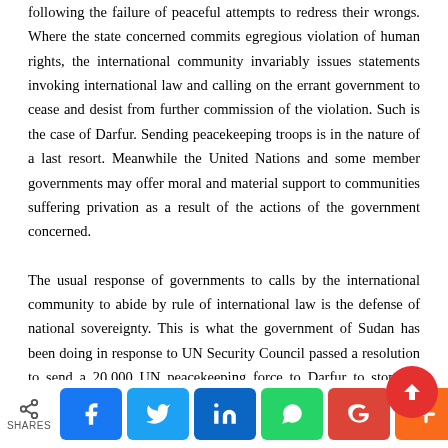following the failure of peaceful attempts to redress their wrongs. Where the state concerned commits egregious violation of human rights, the international community invariably issues statements invoking international law and calling on the errant government to cease and desist from further commission of the violation. Such is the case of Darfur. Sending peacekeeping troops is in the nature of a last resort. Meanwhile the United Nations and some member governments may offer moral and material support to communities suffering privation as a result of the actions of the government concerned.
The usual response of governments to calls by the international community to abide by rule of international law is the defense of national sovereignty. This is what the government of Sudan has been doing in response to UN Security Council passed a resolution to send a 20,000 UN peacekeeping force to Darfur to stop the massacres and rapes being committed by government-s...
[Figure (other): Social sharing bar with share icon, SHARES label, and social media buttons: Facebook (blue), Twitter (blue), LinkedIn (dark blue), WhatsApp (green), Google (red), Plus/more (orange). Red scroll-to-top button overlay.]